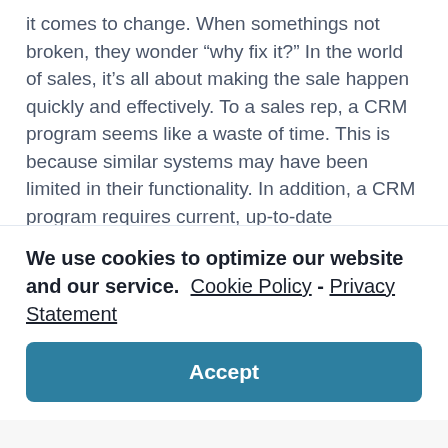it comes to change. When somethings not broken, they wonder “why fix it?” In the world of sales, it’s all about making the sale happen quickly and effectively. To a sales rep, a CRM program seems like a waste of time. This is because similar systems may have been limited in their functionality. In addition, a CRM program requires current, up-to-date information. If only a portion of your sale reps are using this system
We use cookies to optimize our website and our service.  Cookie Policy - Privacy Statement
Accept